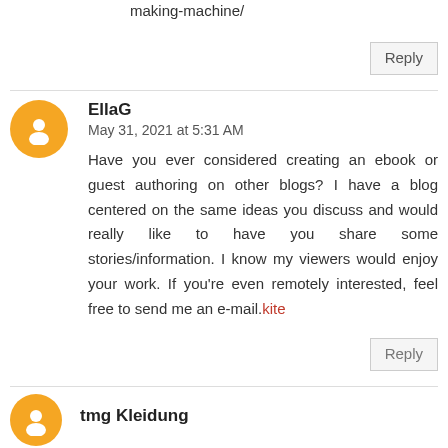making-machine/
Reply
EllaG
May 31, 2021 at 5:31 AM
Have you ever considered creating an ebook or guest authoring on other blogs? I have a blog centered on the same ideas you discuss and would really like to have you share some stories/information. I know my viewers would enjoy your work. If you’re even remotely interested, feel free to send me an e-mail.kite
Reply
tmg Kleidung